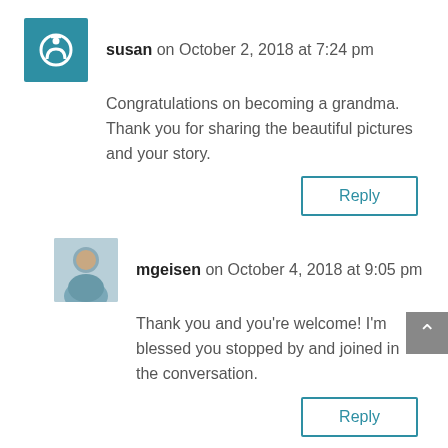susan on October 2, 2018 at 7:24 pm
Congratulations on becoming a grandma. Thank you for sharing the beautiful pictures and your story.
Reply
mgeisen on October 4, 2018 at 9:05 pm
Thank you and you’re welcome! I’m blessed you stopped by and joined in the conversation.
Reply
Connie Rowland on October 2, 2018 at 7:00